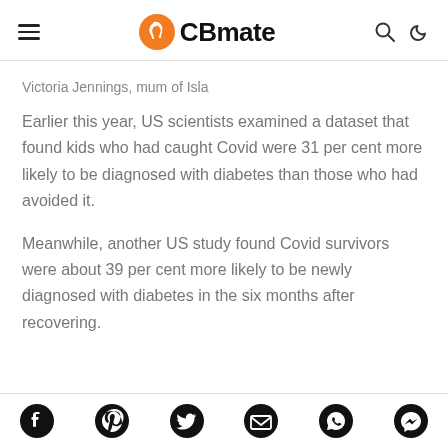CBmate
Victoria Jennings, mum of Isla
Earlier this year, US scientists examined a dataset that found kids who had caught Covid were 31 per cent more likely to be diagnosed with diabetes than those who had avoided it.
Meanwhile, another US study found Covid survivors were about 39 per cent more likely to be newly diagnosed with diabetes in the six months after recovering.
Social share icons: Facebook, Pinterest, Twitter, Email, WhatsApp, Messenger